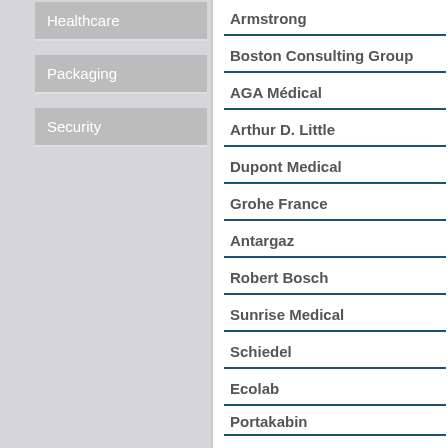Healthcare
Packaging
Security
Armstrong
Boston Consulting Group
AGA Médical
Arthur D. Little
Dupont Medical
Grohe France
Antargaz
Robert Bosch
Sunrise Medical
Schiedel
Ecolab
Portakabin
FAAC